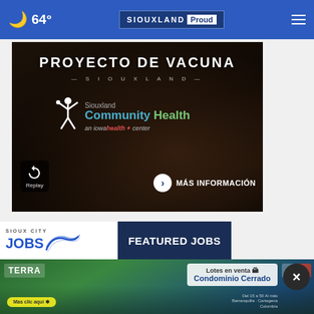🌙 64° | SIOUXLAND Proud | ☰
[Figure (screenshot): Proyecto de Vacuna Siouxland promotional video still showing Siouxland Community Health logo, an iowa health center, with Replay button and MÁS INFORMACIÓN call-to-action]
[Figure (screenshot): Sioux City Jobs - Featured Jobs advertisement showing Special Education Teacher position at Mid-Step Services, Sioux City with VIEW JOB link]
[Figure (screenshot): Partially visible second job listing (Acces... Billion A...)]
[Figure (screenshot): Bottom banner ad for Terra Lotes en venta - Condominio Cerrado with Más clic aquí button]